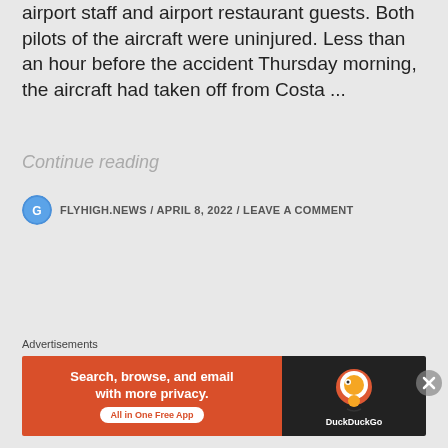airport staff and airport restaurant guests. Both pilots of the aircraft were uninjured. Less than an hour before the accident Thursday morning, the aircraft had taken off from Costa ...
Continue reading
FLYHIGH.NEWS / APRIL 8, 2022 / LEAVE A COMMENT
Advertisements
[Figure (other): DuckDuckGo advertisement banner with orange left side reading 'Search, browse, and email with more privacy. All in One Free App' and dark right side with DuckDuckGo duck logo and text]